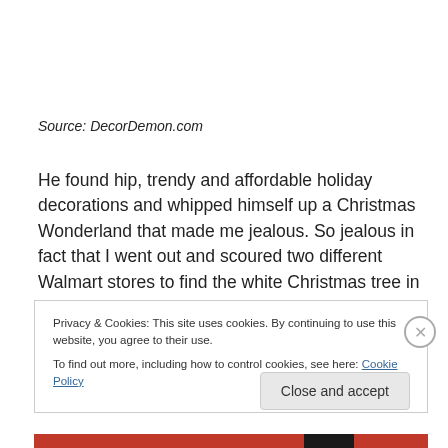Source: DecorDemon.com
He found hip, trendy and affordable holiday decorations and whipped himself up a Christmas Wonderland that made me jealous.  So jealous in fact that I went out and scoured two different Walmart stores to find the white Christmas tree in the above picture.  Thanks to my
Privacy & Cookies: This site uses cookies. By continuing to use this website, you agree to their use.
To find out more, including how to control cookies, see here: Cookie Policy
Close and accept